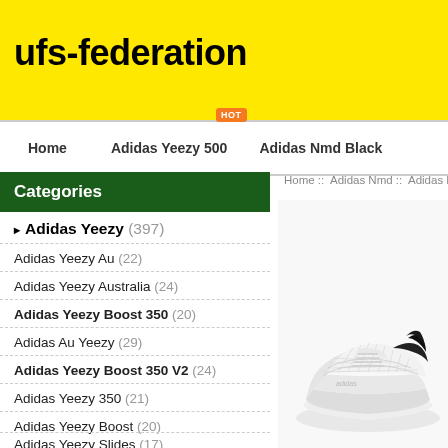ufs-federation
Home  Adidas Yeezy 500  Adidas Nmd Black
Home :: Adidas Nmd :: Adidas Nmd Hum...
Categories
Adidas Yeezy (397)
Adidas Yeezy Au (22)
Adidas Yeezy Australia (24)
Adidas Yeezy Boost 350 (20)
Adidas Au Yeezy (29)
Adidas Yeezy Boost 350 V2 (24)
Adidas Yeezy 350 (21)
Adidas Yeezy Boost (20)
Adidas Yeezy Slides (17)
[Figure (photo): White Adidas NMD Human Race sneaker with black heel collar, white mesh upper, white sole, on white background]